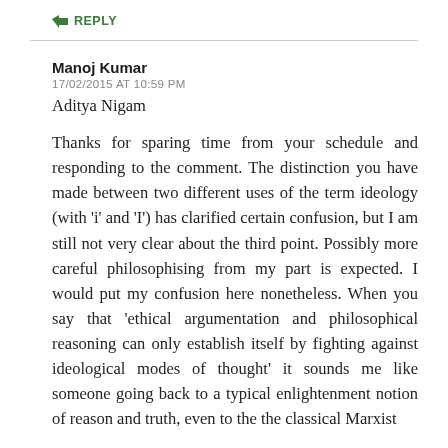↳ REPLY
Manoj Kumar
17/02/2015 AT 10:59 PM
Aditya Nigam
Thanks for sparing time from your schedule and responding to the comment. The distinction you have made between two different uses of the term ideology (with 'i' and 'I') has clarified certain confusion, but I am still not very clear about the third point. Possibly more careful philosophising from my part is expected. I would put my confusion here nonetheless. When you say that 'ethical argumentation and philosophical reasoning can only establish itself by fighting against ideological modes of thought' it sounds me like someone going back to a typical enlightenment notion of reason and truth, even to the the classical Marxist